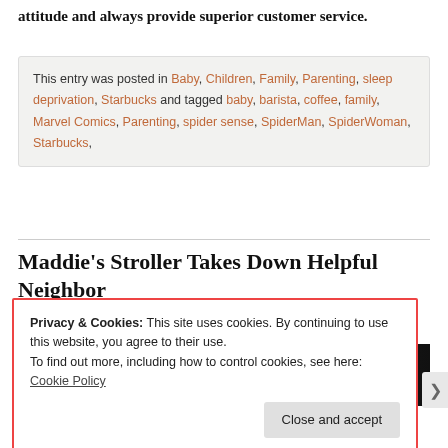attitude and always provide superior customer service.
This entry was posted in Baby, Children, Family, Parenting, sleep deprivation, Starbucks and tagged baby, barista, coffee, family, Marvel Comics, Parenting, spider sense, SpiderMan, SpiderWoman, Starbucks,
Maddie's Stroller Takes Down Helpful Neighbor
POSTED ON MARCH 16, 2012   UPDATED ON MARCH 16, 2012
[Figure (photo): Dark image strip showing partial view of a photo]
Privacy & Cookies: This site uses cookies. By continuing to use this website, you agree to their use.
To find out more, including how to control cookies, see here: Cookie Policy
Close and accept